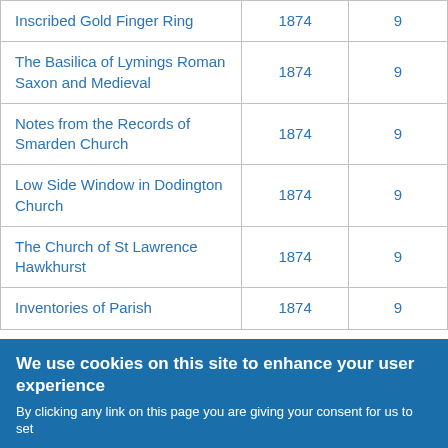| Inscribed Gold Finger Ring | 1874 | 9 |
| The Basilica of Lymings Roman Saxon and Medieval | 1874 | 9 |
| Notes from the Records of Smarden Church | 1874 | 9 |
| Low Side Window in Dodington Church | 1874 | 9 |
| The Church of St Lawrence Hawkhurst | 1874 | 9 |
| Inventories of Parish | 1874 | 9 |
We use cookies on this site to enhance your user experience
By clicking any link on this page you are giving your consent for us to set